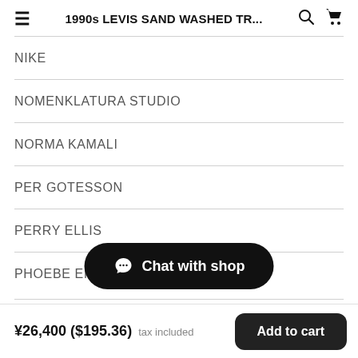1990s LEVIS SAND WASHED TR...
NIKE
NOMENKLATURA STUDIO
NORMA KAMALI
PER GOTESSON
PERRY ELLIS
PHOEBE EN...
Chat with shop
¥26,400 ($195.36) tax included
Add to cart